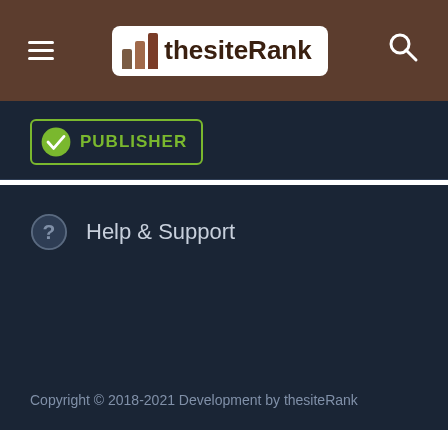thesiteRank
[Figure (logo): Publisher badge with checkmark and green border, label: PUBLISHER]
Help & Support
Copyright © 2018-2021 Development by thesiteRank